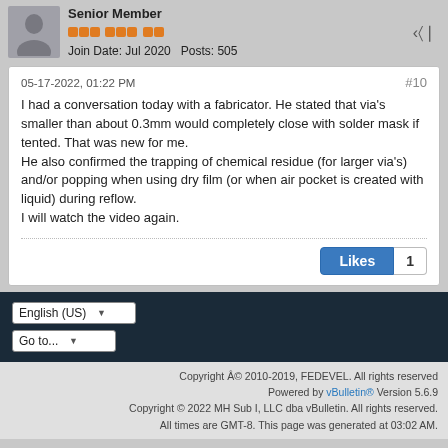Senior Member
Join Date: Jul 2020   Posts: 505
05-17-2022, 01:22 PM   #10
I had a conversation today with a fabricator. He stated that via's smaller than about 0.3mm would completely close with solder mask if tented. That was new for me.
He also confirmed the trapping of chemical residue (for larger via's) and/or popping when using dry film (or when air pocket is created with liquid) during reflow.
I will watch the video again.
Likes 1
English (US)
Go to...
Copyright Â© 2010-2019, FEDEVEL. All rights reserved
Powered by vBulletin® Version 5.6.9
Copyright © 2022 MH Sub I, LLC dba vBulletin. All rights reserved.
All times are GMT-8. This page was generated at 03:02 AM.